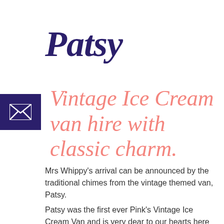Patsy
Vintage Ice Cream van hire with classic charm.
Mrs Whippy's arrival can be announced by the traditional chimes from the vintage themed van, Patsy.
Patsy was the first ever Pink's Vintage Ice Cream Van and is very dear to our hearts here at Pink's! Named after our Nan, this van didn't start out life